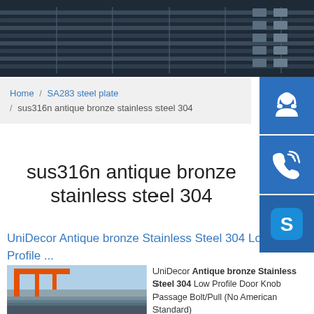[Figure (photo): Hero image showing stainless steel bars/profiles in dark industrial setting]
Home / SA283 steel plate / sus316n antique bronze stainless steel 304
sus316n antique bronze stainless steel 304
[Figure (other): Three blue sidebar icon buttons: customer service (headset), phone, and Skype]
UniDecor Antique bronze Stainless Steel 304 Low Profile ...
[Figure (photo): Photo of steel plates stacked outdoors with orange crane in background]
UniDecor Antique bronze Stainless Steel 304 Low Profile Door Knob Passage Bolt/Pull (No American Standard)